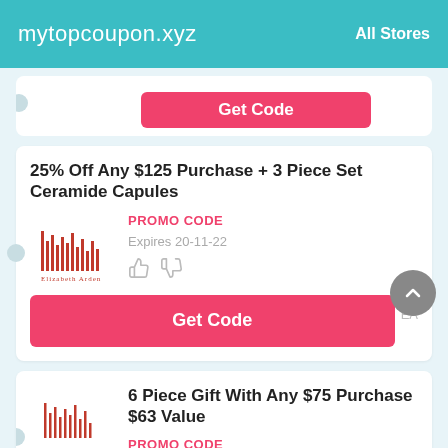mytopcoupon.xyz   All Stores
[Figure (screenshot): Partial coupon card with Get Code button visible at top]
25% Off Any $125 Purchase + 3 Piece Set Ceramide Capules
PROMO CODE
Expires 20-11-22
[Figure (logo): Elizabeth Arden logo in red/pink]
Get Code
6 Piece Gift With Any $75 Purchase $63 Value
PROMO CODE